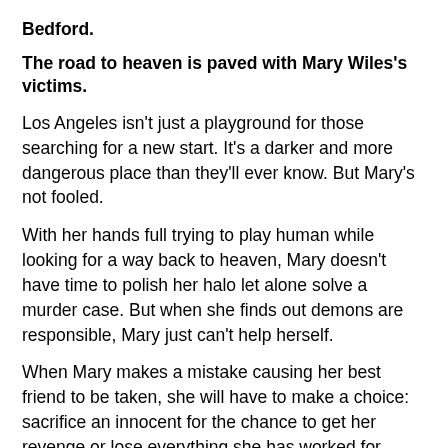Bedford.
The road to heaven is paved with Mary Wiles's victims.
Los Angeles isn't just a playground for those searching for a new start. It's a darker and more dangerous place than they'll ever know. But Mary's not fooled.
With her hands full trying to play human while looking for a way back to heaven, Mary doesn't have time to polish her halo let alone solve a murder case. But when she finds out demons are responsible, Mary just can't help herself.
When Mary makes a mistake causing her best friend to be taken, she will have to make a choice: sacrifice an innocent for the chance to get her revenge or lose everything she has worked for. Mary starts to realize there